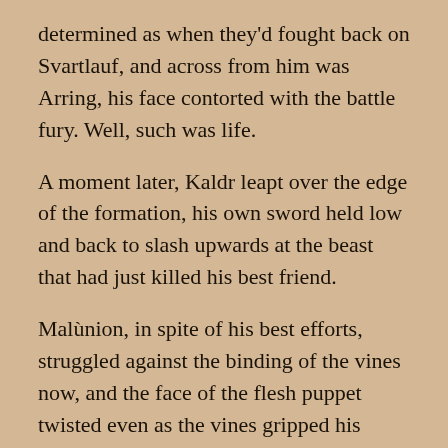determined as when they'd fought back on Svartlauf, and across from him was Arring, his face contorted with the battle fury. Well, such was life.
A moment later, Kaldr leapt over the edge of the formation, his own sword held low and back to slash upwards at the beast that had just killed his best friend.
Malùnion, in spite of his best efforts, struggled against the binding of the vines now, and the face of the flesh puppet twisted even as the vines gripped his limbs more tightly.
An arrow flew past Kaldr, and this time one